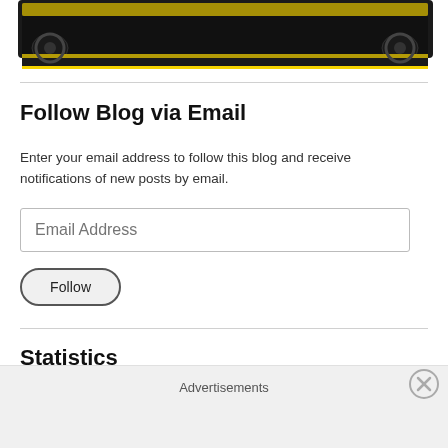[Figure (illustration): Black and yellow grunge banner/logo image at top of page with rough brush-stroke style text on black background with yellow accent]
Follow Blog via Email
Enter your email address to follow this blog and receive notifications of new posts by email.
[Figure (other): Email Address input field, a rectangular text input with placeholder text 'Email Address']
[Figure (other): Follow button with rounded pill shape]
Statistics
Advertisements